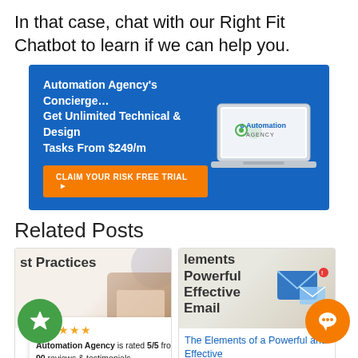In that case, chat with our Right Fit Chatbot to learn if we can help you.
[Figure (infographic): Blue banner ad for Automation Agency's Concierge service. Text: Automation Agency's Concierge... Get Unlimited Technical & Design Tasks From $249/m. Orange CTA button: CLAIM YOUR RISK FREE TRIAL. Right side shows a laptop with Automation Agency logo on screen.]
Related Posts
[Figure (photo): Left post card showing partial text 'st Practices' and a hand holding a credit card device, with a rating overlay showing 5 stars and text 'Automation Agency is rated 5/5 from 90 reviews & testimonials.' Title: 'The Best Practices for Great Omnichannel']
[Figure (photo): Right post card showing partial text 'lements Powerful Effective Email' with envelope/email imagery. Title: 'The Elements of a Powerful and Effective']